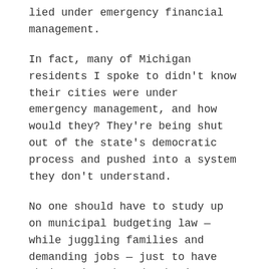lied under emergency financial management.
In fact, many of Michigan residents I spoke to didn’t know their cities were under emergency management, and how would they? They’re being shut out of the state’s democratic process and pushed into a system they don’t understand.
No one should have to study up on municipal budgeting law — while juggling families and demanding jobs — just to have their voices heard. That’s not how democracy is supposed to work.
Nonetheless, Iywana and others